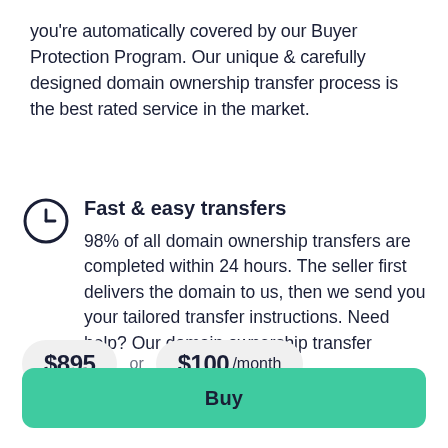you're automatically covered by our Buyer Protection Program. Our unique & carefully designed domain ownership transfer process is the best rated service in the market.
Fast & easy transfers
98% of all domain ownership transfers are completed within 24 hours. The seller first delivers the domain to us, then we send you your tailored transfer instructions. Need help? Our domain ownership transfer
$895 or $100 /month
Buy